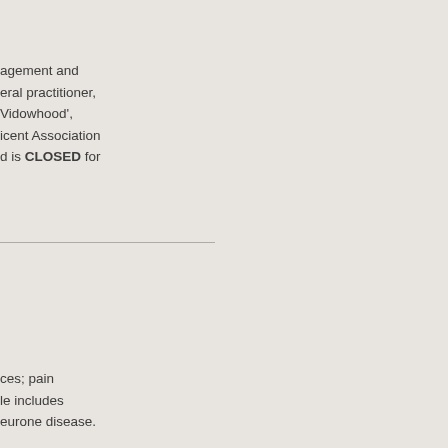agement and general practitioner, Widowhood', icent Association d is CLOSED for
ces; pain le includes eurone disease.